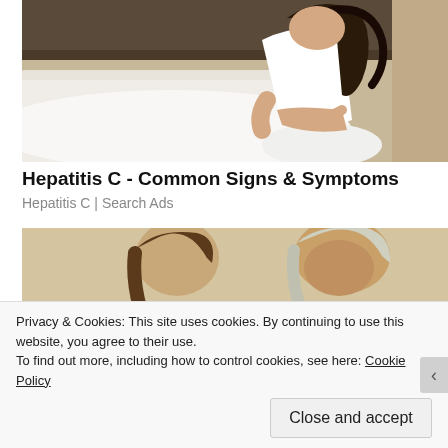[Figure (photo): Young woman in white top sitting on bed, holding her lower back/abdomen suggesting pain]
Hepatitis C - Common Signs & Symptoms
Hepatitis C | Search Ads
[Figure (photo): Two people (an older man and woman) viewed from behind, seated, cream/beige background]
Privacy & Cookies: This site uses cookies. By continuing to use this website, you agree to their use.
To find out more, including how to control cookies, see here: Cookie Policy
Close and accept